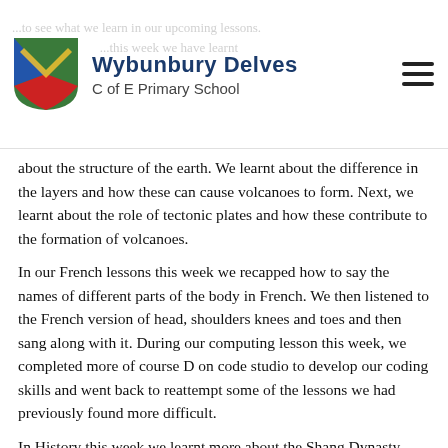Wybunbury Delves C of E Primary School
about the structure of the earth. We learnt about the difference in the layers and how these can cause volcanoes to form. Next, we learnt about the role of tectonic plates and how these contribute to the formation of volcanoes.
In our French lessons this week we recapped how to say the names of different parts of the body in French. We then listened to the French version of head, shoulders knees and toes and then sang along with it. During our computing lesson this week, we completed more of course D on code studio to develop our coding skills and went back to reattempt some of the lessons we had previously found more difficult.
In History this week we learnt more about the Shang Dynasty. Using archaeological evidence of what was